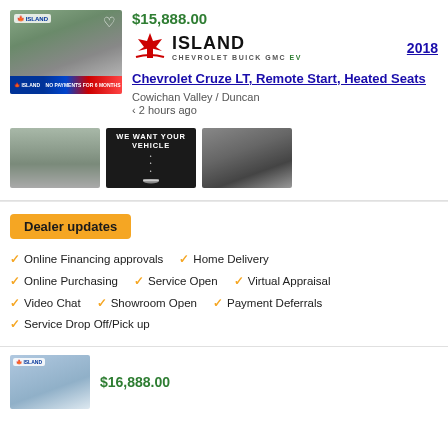$15,888.00
[Figure (logo): Island Chevrolet Buick GMC EV dealer logo with maple leaf]
2018
Chevrolet Cruze LT, Remote Start, Heated Seats
Cowichan Valley / Duncan
< 2 hours ago
[Figure (photo): Black Chevrolet Cruze side view in parking lot]
[Figure (photo): We Want Your Vehicle advertisement image]
[Figure (photo): Black Chevrolet Cruze rear view in parking lot]
Dealer updates
Online Financing approvals
Home Delivery
Online Purchasing
Service Open
Virtual Appraisal
Video Chat
Showroom Open
Payment Deferrals
Service Drop Off/Pick up
$16,888.00